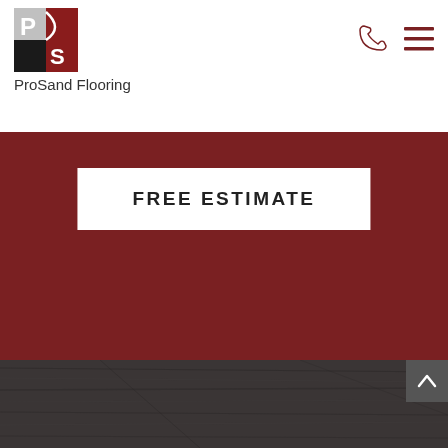[Figure (logo): ProSand Flooring logo - stylized PS letters in red and gray squares]
ProSand Flooring
[Figure (other): Phone icon and hamburger menu icon in dark red]
[Figure (other): Dark red/maroon background section with FREE ESTIMATE button]
FREE ESTIMATE
[Figure (photo): Dark gray wood flooring texture background]
[Figure (logo): ProSand Flooring logo in footer on dark wood background]
ProSand Flooring